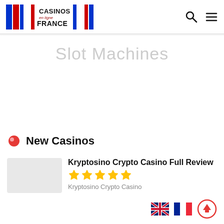Casinos en ligne France - logo and navigation
Slot Machines
New Casinos
Kryptosino Crypto Casino Full Review
★★★★★
Kryptosino Crypto Casino
Language selector: English, French. Scroll to top button.